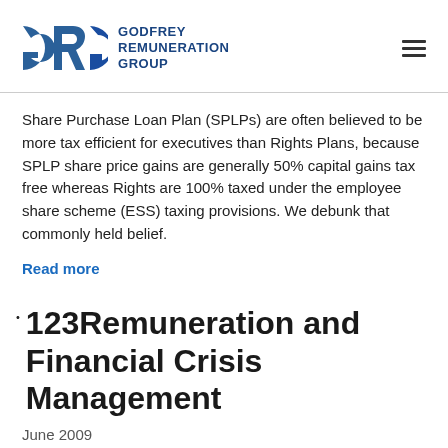[Figure (logo): GRG Godfrey Remuneration Group logo with stylized G R G letters in blue and company name text]
Share Purchase Loan Plan (SPLPs) are often believed to be more tax efficient for executives than Rights Plans, because SPLP share price gains are generally 50% capital gains tax free whereas Rights are 100% taxed under the employee share scheme (ESS) taxing provisions. We debunk that commonly held belief.
Read more
123Remuneration and Financial Crisis Management
June 2009